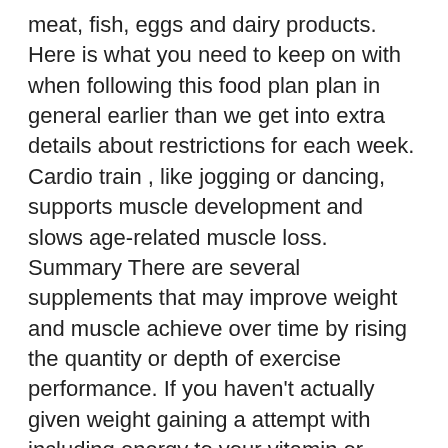meat, fish, eggs and dairy products. Here is what you need to keep on with when following this food plan plan in general earlier than we get into extra details about restrictions for each week. Cardio train , like jogging or dancing, supports muscle development and slows age-related muscle loss. Summary There are several supplements that may improve weight and muscle achieve over time by rising the quantity or depth of exercise performance. If you haven't actually given weight gaining a attempt with including energy to your vitamin or training hard for hypertrophy (muscle growth), then it is not time to consider a weight gainer complement. The bodily activity modifications you make will impact how many calories you should eat to reach your objective and maintain it after you have reached it. Mums are busy and don't all the time have time every day to shop, plan and prepare a healthy nutritious meal for the family which is why planning forward and even prepping forward is essential to help you get by means of the week. A few of these benefits embrace the body's capacity to raised